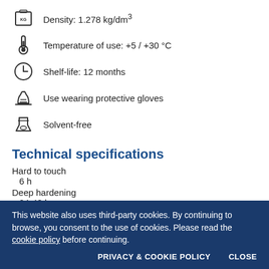Density: 1.278 kg/dm³
Temperature of use: +5 / +30 °C
Shelf-life: 12 months
Use wearing protective gloves
Solvent-free
Technical specifications
Hard to touch
6 h
Deep hardening
24-48 h
Available colours
This website also uses third-party cookies. By continuing to browse, you consent to the use of cookies. Please read the cookie policy before continuing.
PRIVACY & COOKIE POLICY
CLOSE